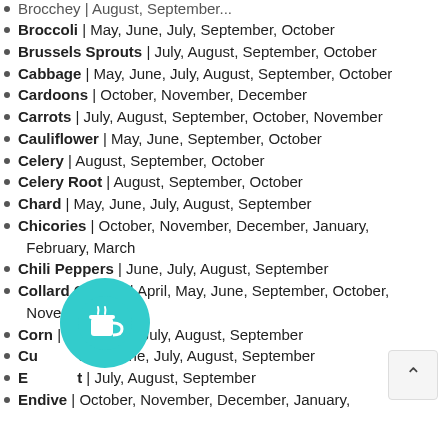Broccoli | May, June, July, September, October
Brussels Sprouts | July, August, September, October
Cabbage | May, June, July, August, September, October
Cardoons | October, November, December
Carrots | July, August, September, October, November
Cauliflower | May, June, September, October
Celery | August, September, October
Celery Root | August, September, October
Chard | May, June, July, August, September
Chicories | October, November, December, January, February, March
Chili Peppers | June, July, August, September
Collard Greens | April, May, June, September, October, November
Corn | May, June, July, August, September
Cucumbers | June, July, August, September
Eggplant | July, August, September
Endive | October, November, December, January, February, March